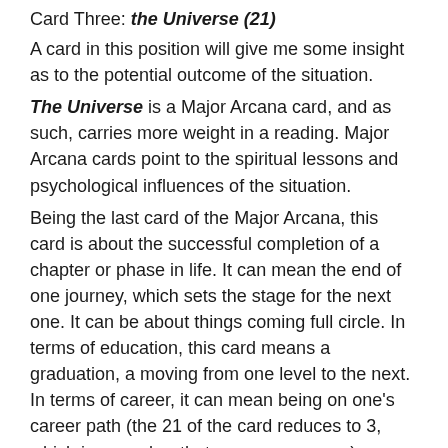Card Three: the Universe (21)
A card in this position will give me some insight as to the potential outcome of the situation.
The Universe is a Major Arcana card, and as such, carries more weight in a reading. Major Arcana cards point to the spiritual lessons and psychological influences of the situation.
Being the last card of the Major Arcana, this card is about the successful completion of a chapter or phase in life. It can mean the end of one journey, which sets the stage for the next one. It can be about things coming full circle. In terms of education, this card means a graduation, a moving from one level to the next. In terms of career, it can mean being on one's career path (the 21 of the card reduces to 3, which is a number that can mean career).